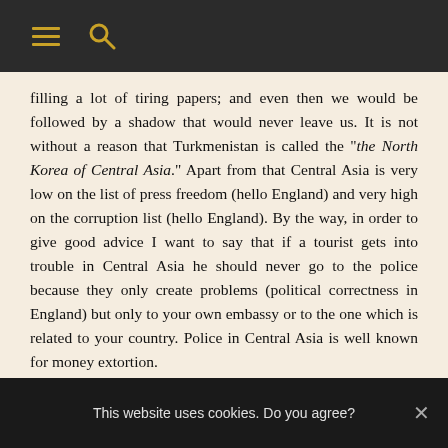≡  🔍
filling a lot of tiring papers; and even then we would be followed by a shadow that would never leave us. It is not without a reason that Turkmenistan is called the "the North Korea of Central Asia." Apart from that Central Asia is very low on the list of press freedom (hello England) and very high on the corruption list (hello England). By the way, in order to give good advice I want to say that if a tourist gets into trouble in Central Asia he should never go to the police because they only create problems (political correctness in England) but only to your own embassy or to the one which is related to your country. Police in Central Asia is well known for money extortion.
This website uses cookies. Do you agree?